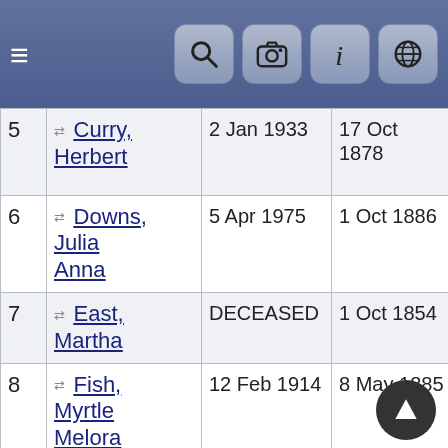[Figure (screenshot): Mobile app top navigation bar with hamburger menu icon on left and four icon buttons (search, camera, info, globe) on right, on blue-grey gradient background]
| # | Name | Birth | Death | Birthplace |
| --- | --- | --- | --- | --- |
| 5 | Curry, Herbert | 2 Jan 1933 | 17 Oct 1878 | Ash Grove, Shelby, Illinois, US |
| 6 | Downs, Julia Anna | 5 Apr 1975 | 1 Oct 1886 | Shelby, Illinois, US |
| 7 | East, Martha | DECEASED | 1 Oct 1854 |  |
| 8 | Fish, Myrtle Melora | 12 Feb 1914 | 8 May 1885 | Sandwich, Kalb, Illinois, USA |
| 9 | Giles, Jane | 1871 | 1810 | Illinois, US |
| 10 | Gingerich, John C. | 27 Apr 1972 | 8 Apr 1885 | Daviess, Indiana, US |
| 11 | Hughs, Major | 12 Jan 1871 | 1794 | Georgia, |